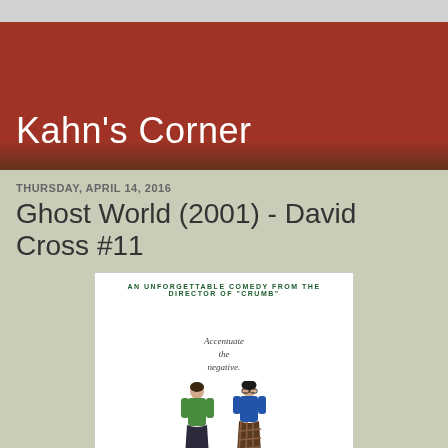Kahn's Corner
THURSDAY, APRIL 14, 2016
Ghost World (2001) - David Cross #11
[Figure (photo): Movie poster for Ghost World (2001). Top text reads 'AN UNFORGETTABLE COMEDY FROM THE DIRECTOR OF "CRUMB"'. Center italic text reads 'Accentuate the negative.' Two female figures stand at the bottom — one in a green top and dark skirt, one in a blue top and plaid skirt.]